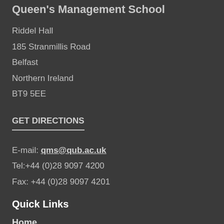Queen's Management School
Riddel Hall
185 Stranmillis Road
Belfast
Northern Ireland
BT9 5EE
GET DIRECTIONS
E-mail: qms@qub.ac.uk
Tel:+44 (0)28 9097 4200
Fax: +44 (0)28 9097 4201
Quick Links
Home
Study
Research